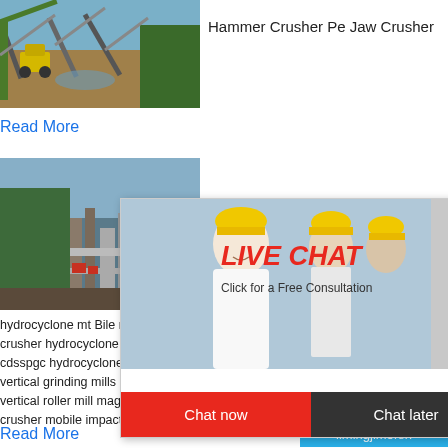[Figure (photo): Aerial view of mining/quarry industrial site with yellow excavator and conveyor belts]
Hammer Crusher Pe Jaw Crusher
Read More
[Figure (photo): Industrial site with pipes and machinery]
[Figure (photo): Live chat popup with workers in hard hats, woman in foreground, LIVE CHAT heading, Click for a Free Consultation, Chat now and Chat later buttons]
[Figure (photo): Sidebar with jaw crusher machine image, hour online text, Click me to chat button, Enquiry link, limingjlmofen text]
hydrocyclone mt Bile ne crusher mobile jaw crusher hydrocy crusher hydrocyclone jaw crusher.stone cru s cdsspgc hydrocyclone k series mobile crus vertical grinding mills lsx sand washing mac vertical roller mill magnetic separation mac crusher mobile impact crusher
Read More